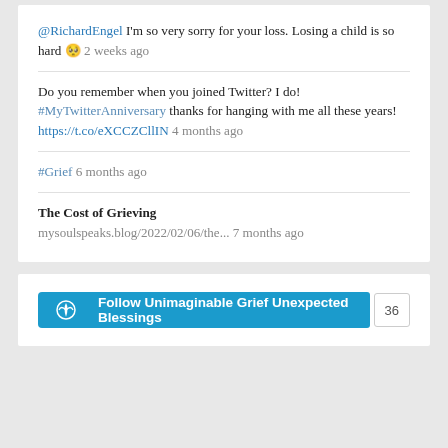@RichardEngel I'm so very sorry for your loss. Losing a child is so hard 🥺 2 weeks ago
Do you remember when you joined Twitter? I do! #MyTwitterAnniversary thanks for hanging with me all these years! https://t.co/eXCCZCllIN 4 months ago
#Grief 6 months ago
The Cost of Grieving
mysoulspeaks.blog/2022/02/06/the... 7 months ago
[Figure (other): Follow Unimaginable Grief Unexpected Blessings WordPress follow button with count 36]